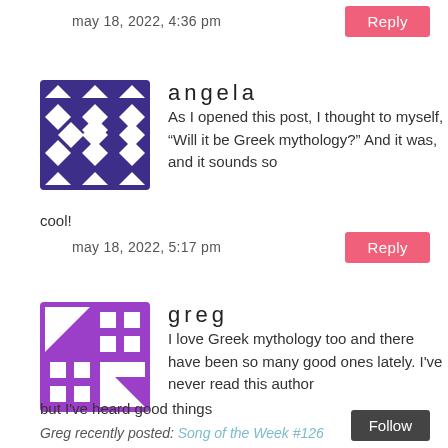may 18, 2022, 4:36 pm
Reply
[Figure (illustration): Avatar icon for Angela: geometric pattern with triangles and diamonds in dark blue/purple on white background]
angela
As I opened this post, I thought to myself, “Will it be Greek mythology?” And it was, and it sounds so cool!
may 18, 2022, 5:17 pm
Reply
[Figure (illustration): Avatar icon for Greg: geometric pattern with squares and triangles in purple/violet on white background]
greg
I love Greek mythology too and there have been so many good ones lately. I've never read this author but I've heard good things
Greg recently posted: Song of the Week #126
Follow